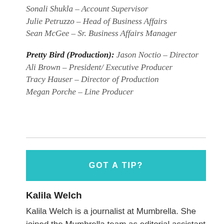Sonali Shukla – Account Supervisor
Julie Petruzzo – Head of Business Affairs
Sean McGee – Sr. Business Affairs Manager
Pretty Bird (Production): Jason Noctio – Director
Ali Brown – President/ Executive Producer
Tracy Hauser – Director of Production
Megan Porche – Line Producer
[Figure (other): Teal banner button with text GOT A TIP?]
Kalila Welch
Kalila Welch is a journalist at Mumbrella. She joined the Mumbrella team as editorial assistant